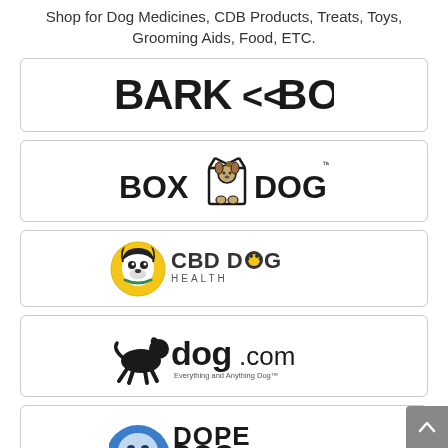Shop for Dog Medicines, CDB Products, Treats, Toys, Grooming Aids, Food, ETC.
[Figure (logo): BarkBox logo — bold text BARK<<BOX]
[Figure (logo): BoxDog logo — cartoon dog in a box with BOX DOG text]
[Figure (logo): CBD Dog Health logo — yellow circle with Boston Terrier and CBD DOG HEALTH text]
[Figure (logo): dog.com logo — silhouette of running dog and dog.com text with 'Everything and Anything Dog']
[Figure (logo): Dope Dog logo — partial view of blue bulldog mascot and DOPE DOG text]